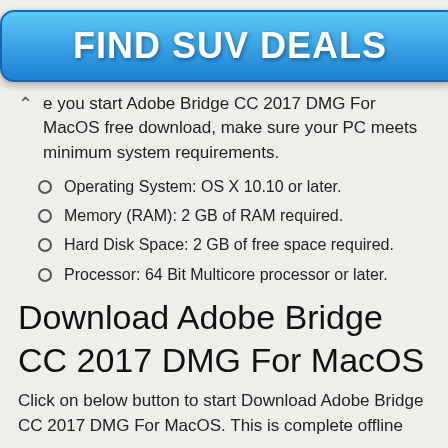[Figure (other): Blue rounded rectangle advertisement banner with text FIND SUV DEALS in white bold letters]
e you start Adobe Bridge CC 2017 DMG For MacOS free download, make sure your PC meets minimum system requirements.
Operating System: OS X 10.10 or later.
Memory (RAM): 2 GB of RAM required.
Hard Disk Space: 2 GB of free space required.
Processor: 64 Bit Multicore processor or later.
Download Adobe Bridge CC 2017 DMG For MacOS
Click on below button to start Download Adobe Bridge CC 2017 DMG For MacOS. This is complete offline